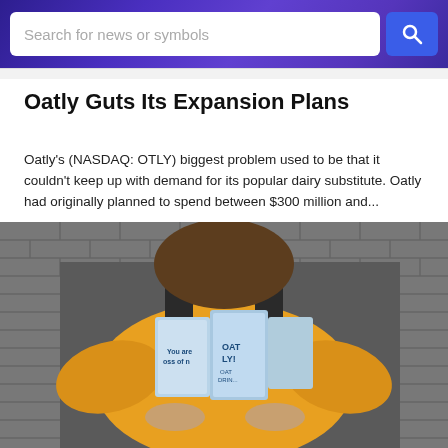Search for news or symbols
Oatly Guts Its Expansion Plans
Oatly's (NASDAQ: OTLY) biggest problem used to be that it couldn't keep up with demand for its popular dairy substitute. Oatly had originally planned to spend between $300 million and...
[Figure (photo): A person wearing a yellow sweater and dark overalls holding multiple Oatly oat drink cartons against a grey brick wall background.]